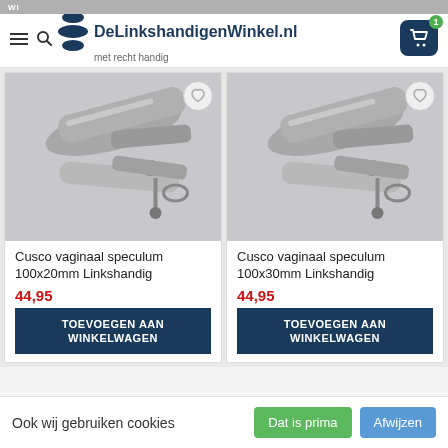[Figure (screenshot): E-commerce website header for DeLinkshandigenWinkel.nl with logo, menu and cart icon]
[Figure (photo): Cusco vaginaal speculum 100x20mm Linkshandig - stainless steel medical instrument]
Cusco vaginaal speculum 100x20mm Linkshandig
44,95
TOEVOEGEN AAN WINKELWAGEN
[Figure (photo): Cusco vaginaal speculum 100x30mm Linkshandig - stainless steel medical instrument]
Cusco vaginaal speculum 100x30mm Linkshandig
44,95
TOEVOEGEN AAN WINKELWAGEN
Ook wij gebruiken cookies
Dat is prima
Afwijzen